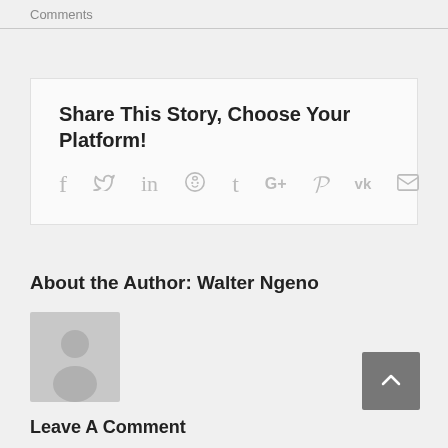Comments
Share This Story, Choose Your Platform!
[Figure (infographic): Social media sharing icons: Facebook, Twitter, LinkedIn, Reddit, Tumblr, Google+, Pinterest, VK, Email]
About the Author: Walter Ngeno
[Figure (photo): Generic grey avatar silhouette placeholder image]
[Figure (other): Back to top button with upward arrow chevron]
Leave A Comment